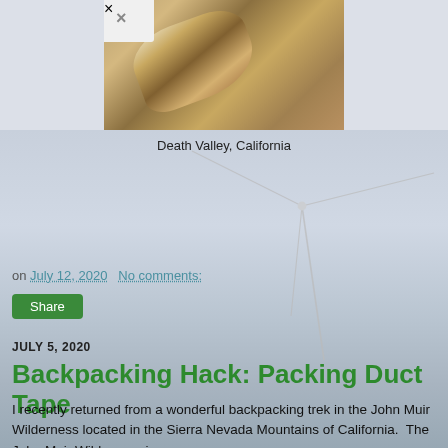[Figure (photo): Aerial or close-up photo of sandy desert terrain with a driftwood or rock formation in Death Valley, California. A small white close-button overlay appears in the top-left corner of the photo.]
Death Valley, California
on July 12, 2020   No comments:
Share
JULY 5, 2020
Backpacking Hack: Packing Duct Tape
I recently returned from a wonderful backpacking trek in the John Muir Wilderness located in the Sierra Nevada Mountains of California.  The John Muir Wilderness is